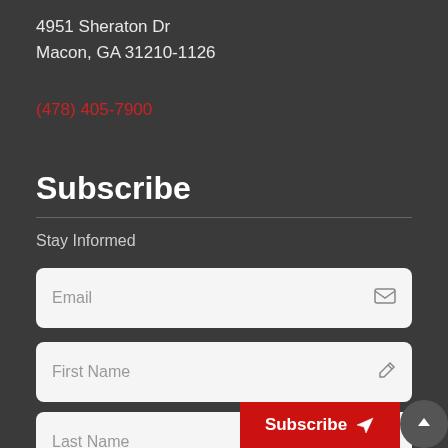4951 Sheraton Dr
Macon, GA 31210-1126
(478) 405-7900
Subscribe
Stay Informed
Email
First Name
Last Name
Subscribe